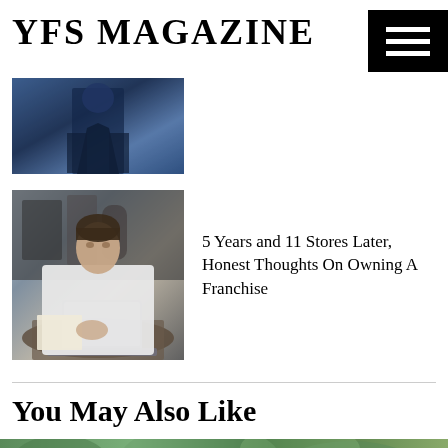YFS MAGAZINE
[Figure (photo): Dark blue toned photo, appears to show a silhouette or shadowy figure]
[Figure (photo): Man in white shirt working on laptop at a cafe or restaurant table]
5 Years and 11 Stores Later, Honest Thoughts On Owning A Franchise
You May Also Like
[Figure (photo): Bottom strip image showing green plants/foliage]